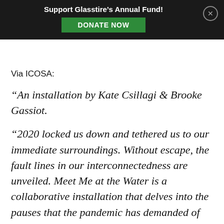Support Glasstire's Annual Fund! DONATE NOW
Via ICOSA:
“An installation by Kate Csillagi & Brooke Gassiot.
“2020 locked us down and tethered us to our immediate surroundings. Without escape, the fault lines in our interconnectedness are unveiled. Meet Me at the Water is a collaborative installation that delves into the pauses that the pandemic has demanded of an insatiable materialistic culture. With nowhere to escape, our discomfort rises and this time